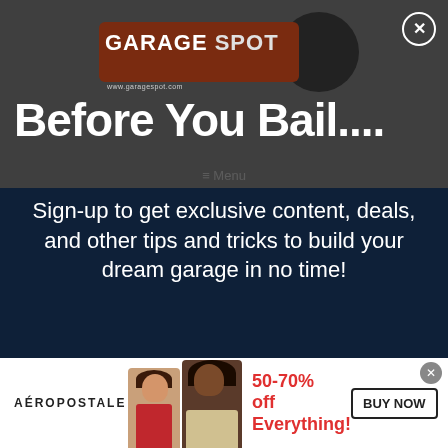[Figure (logo): Garage Spot logo with brown rectangle background and dark circle, white bold text reading GARAGE SPOT]
Before You Bail....
Sign-up to get exclusive content, deals, and other tips and tricks to build your dream garage in no time!
Your email address here...
✓ Sign Up
[Figure (infographic): Aéropostale advertisement banner showing two female models, text '50-70% off Everything!' in red, and a BUY NOW button]